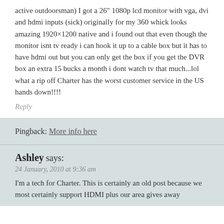active outdoorsman) I got a 26" 1080p lcd monitor with vga, dvi and hdmi inputs (sick) originally for my 360 whick looks amazing 1920×1200 native and i found out that even though the monitor isnt tv ready i can hook it up to a cable box but it has to have hdmi out but you can only get the box if you get the DVR box an extra 15 bucks a month i dont watch tv that much...lol what a rip off Charter has the worst customer service in the US hands down!!!!
Reply
Pingback: More info here
Ashley says:
24 January, 2010 at 9:36 am
I'm a tech for Charter. This is certainly an old post because we most certainly support HDMI plus our area gives away